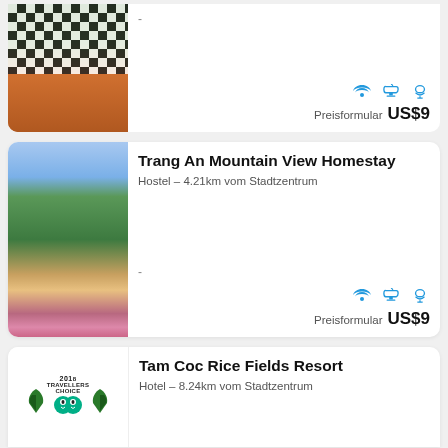[Figure (photo): Partial card at top showing a building with checkered black and white pattern, orange walls, and garden]
-
Preisformular  US$9
Trang An Mountain View Homestay
Hostel – 4.21km vom Stadtzentrum
-
Preisformular  US$9
[Figure (photo): Mountain view homestay with green karst mountains in background, flowers and table in foreground]
Tam Coc Rice Fields Resort
Hotel – 8.24km vom Stadtzentrum
[Figure (photo): TripAdvisor Travellers Choice 2018 badge with owl logo]